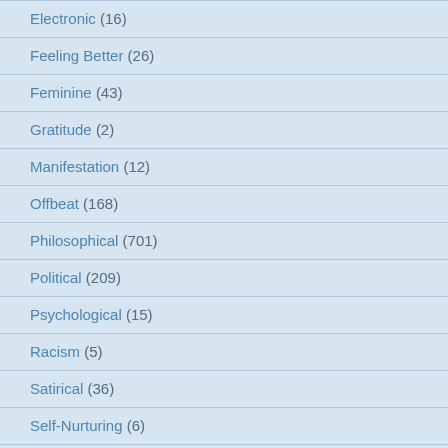Electronic (16)
Feeling Better (26)
Feminine (43)
Gratitude (2)
Manifestation (12)
Offbeat (168)
Philosophical (701)
Political (209)
Psychological (15)
Racism (5)
Satirical (36)
Self-Nurturing (6)
Special (1)
Spiritual (1,273)
Uncategorized (40)